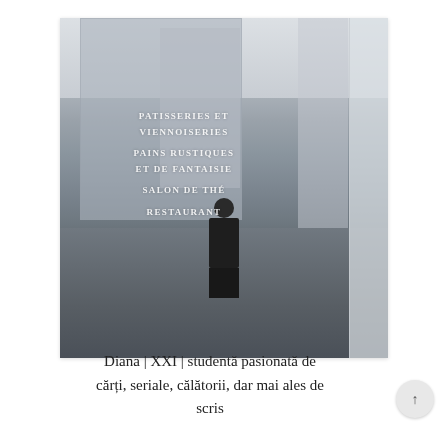[Figure (photo): A black-and-white photograph taken through a bakery window with French text (PATISSERIES ET VIENNOISERIES, PAINS RUSTIQUES ET DE FANTAISIE, SALON DE THÉ, RESTAURANT) reflected or written on the glass. A woman stands in the street beyond the window with urban apartment buildings in the background.]
Diana | XXI | studentă pasionată de cărți, seriale, călătorii, dar mai ales de scris